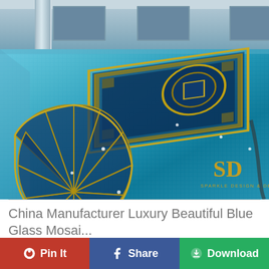[Figure (photo): Aerial view of a luxury swimming pool with intricate blue glass mosaic tile work, featuring geometric patterns including a large rectangular design with Greek key border, a circular medallion, and a decorative fan/shell motif on the pool floor. Sparkle Design & Decor watermark in gold visible at bottom right.]
China Manufacturer Luxury Beautiful Blue Glass Mosai...
Pin It
Share
Download